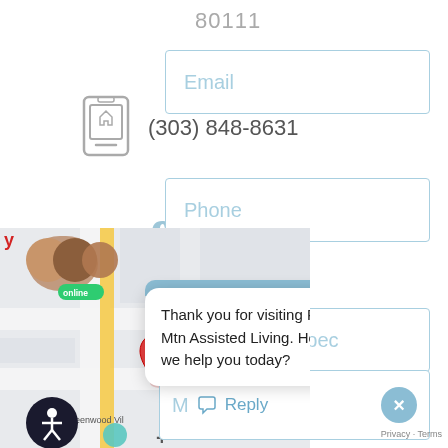80111
(303) 848-8631
[Figure (screenshot): Social media icons: Facebook (f) and LinkedIn (in) in light blue]
Email
Phone
Name of Prospect
[Figure (screenshot): Thank you for visiting Rocky Mtn Assisted Living. How can we help you today? - chat bubble with agent avatars showing online status and a map with location pin]
Reply
Privacy · Terms